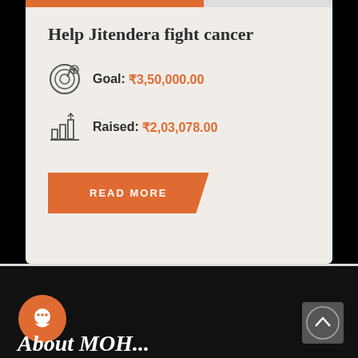Help Jitendera fight cancer
Goal: ₹3,50,000.00
Raised: ₹2,03,078.00
READ MORE
About MOH...